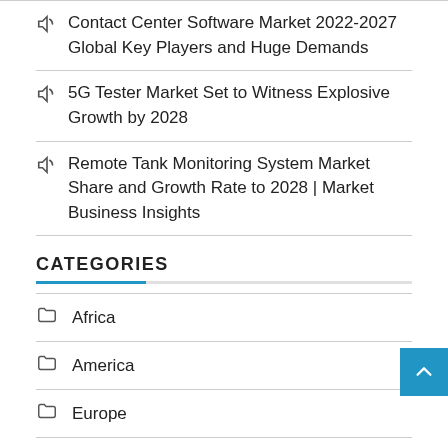Contact Center Software Market 2022-2027 Global Key Players and Huge Demands
5G Tester Market Set to Witness Explosive Growth by 2028
Remote Tank Monitoring System Market Share and Growth Rate to 2028 | Market Business Insights
CATEGORIES
Africa
America
Europe